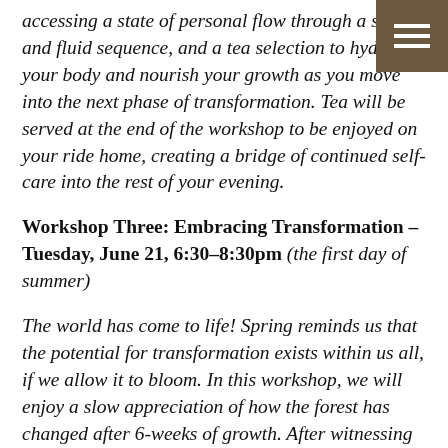accessing a state of personal flow through a smooth and fluid sequence, and a tea selection to hydrate your body and nourish your growth as you move into the next phase of transformation. Tea will be served at the end of the workshop to be enjoyed on your ride home, creating a bridge of continued self-care into the rest of your evening.
Workshop Three: Embracing Transformation – Tuesday, June 21, 6:30–8:30pm (the first day of summer)
The world has come to life! Spring reminds us that the potential for transformation exists within us all, if we allow it to bloom. In this workshop, we will enjoy a slow appreciation of how the forest has changed after 6-weeks of growth. After witnessing the